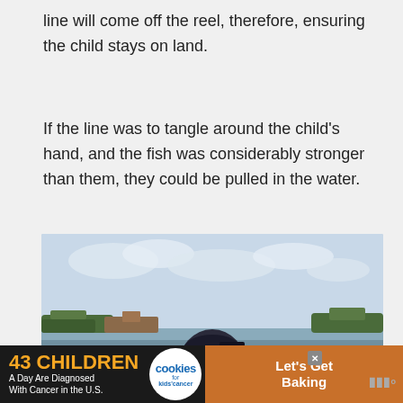line will come off the reel, therefore, ensuring the child stays on land.
If the line was to tangle around the child’s hand, and the fish was considerably stronger than them, they could be pulled in the water.
[Figure (photo): A child or person seen from behind wearing a dark baseball cap, looking out over a body of water with trees and structures visible in the background under a partly cloudy sky.]
43 CHILDREN A Day Are Diagnosed With Cancer in the U.S. | cookies for kids' cancer | Let's Get Baking